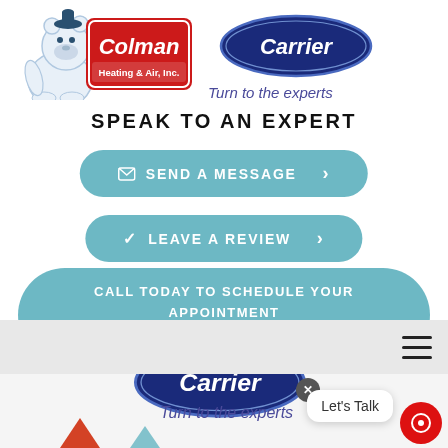[Figure (logo): Colman Heating & Air, Inc. logo with polar bear mascot and red sign]
[Figure (logo): Carrier oval logo in dark blue with white text and tagline 'Turn to the experts']
SPEAK TO AN EXPERT
✉ SEND A MESSAGE >
✓ LEAVE A REVIEW >
CALL TODAY TO SCHEDULE YOUR APPOINTMENT ☎ (321) 593-4055 >
[Figure (screenshot): Bottom portion of page showing gray navigation bar with hamburger menu, partial Carrier logo, 'Turn to the experts' text, close button, 'Let's Talk' chat bubble, and red chat icon]
Turn to the experts
Let's Talk